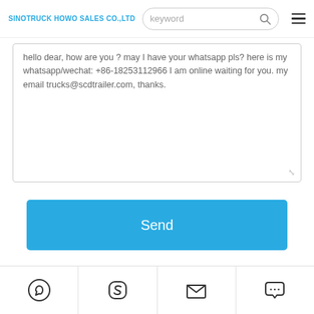SINOTRUCK HOWO SALES CO.,LTD | keyword [search]
hello dear, how are you ? may I have your whatsapp pls? here is my whatsapp/wechat: +86-18253112966 I am online waiting for you. my email trucks@scdtrailer.com, thanks.
Send
You Might Also Like